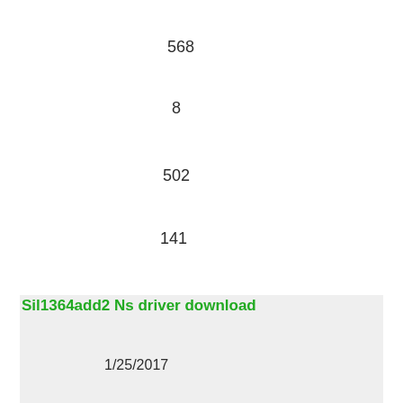568
8
502
141
Sil1364add2 Ns driver download
1/25/2017